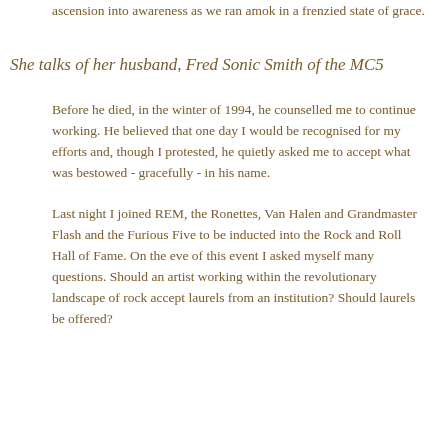ascension into awareness as we ran amok in a frenzied state of grace.
She talks of her husband, Fred Sonic Smith of the MC5
Before he died, in the winter of 1994, he counselled me to continue working. He believed that one day I would be recognised for my efforts and, though I protested, he quietly asked me to accept what was bestowed - gracefully - in his name.
Last night I joined REM, the Ronettes, Van Halen and Grandmaster Flash and the Furious Five to be inducted into the Rock and Roll Hall of Fame. On the eve of this event I asked myself many questions. Should an artist working within the revolutionary landscape of rock accept laurels from an institution? Should laurels be offered?